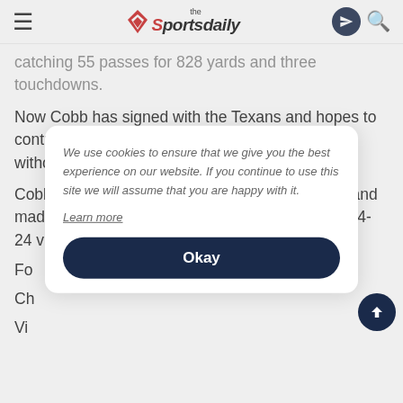the sportsdaily
catching 55 passes for 828 yards and three touchdowns.
Now Cobb has signed with the Texans and hopes to contribute to their offense which now finds itself without the traded DeAndre Hopkins.
Cobb faced the Packers last season with Dallas and made three catches for 53 yards in the Packers 34-24 victory in Da
Fo
Ch
Vi
[Figure (screenshot): Cookie consent modal overlay reading: 'We use cookies to ensure that we give you the best experience on our website. If you continue to use this site we will assume that you are happy with it. Learn more' with an 'Okay' button.]